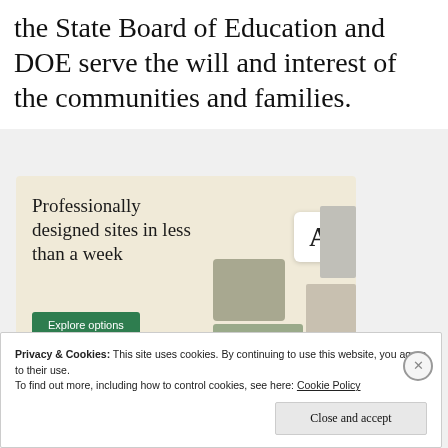the State Board of Education and DOE serve the will and interest of the communities and families.
[Figure (illustration): Advertisement banner with beige background. Text reads 'Professionally designed sites in less than a week' with a green 'Explore options' button and website design mockup images on the right.]
Privacy & Cookies: This site uses cookies. By continuing to use this website, you agree to their use.
To find out more, including how to control cookies, see here: Cookie Policy
Close and accept